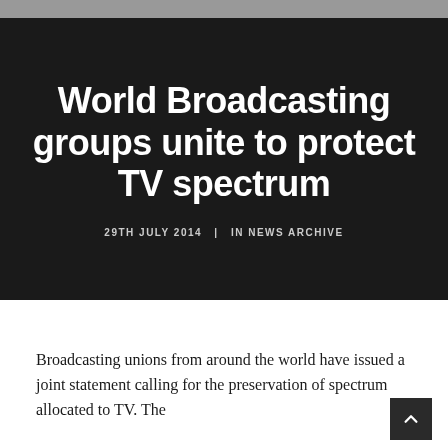World Broadcasting groups unite to protect TV spectrum
29TH JULY 2014  |  IN NEWS ARCHIVE
Broadcasting unions from around the world have issued a joint statement calling for the preservation of spectrum allocated to TV. The